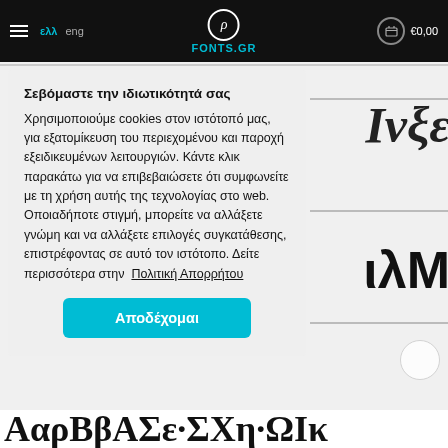ελλ eng / FONTS.GR / €0,00
Σεβόμαστε την ιδιωτικότητά σας
Χρησιμοποιούμε cookies στον ιστότοπό μας, για εξατομίκευση του περιεχομένου και παροχή εξειδικευμένων λειτουργιών. Κάντε κλικ παρακάτω για να επιβεβαιώσετε ότι συμφωνείτε με τη χρήση αυτής της τεχνολογίας στο web. Οποιαδήποτε στιγμή, μπορείτε να αλλάξετε γνώμη και να αλλάξετε επιλογές συγκατάθεσης, επιστρέφοντας σε αυτό τον ιστότοπο. Δείτε περισσότερα στην Πολιτική Απορρήτου
Αποδέχομαι